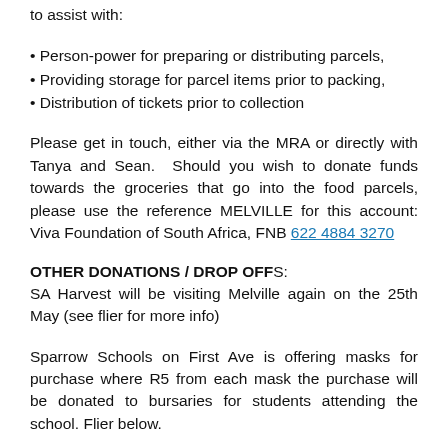to assist with:
• Person-power for preparing or distributing parcels,
• Providing storage for parcel items prior to packing,
• Distribution of tickets prior to collection
Please get in touch, either via the MRA or directly with Tanya and Sean. Should you wish to donate funds towards the groceries that go into the food parcels, please use the reference MELVILLE for this account: Viva Foundation of South Africa, FNB 622 4884 3270
OTHER DONATIONS / DROP OFFS:
SA Harvest will be visiting Melville again on the 25th May (see flier for more info)
Sparrow Schools on First Ave is offering masks for purchase where R5 from each mask the purchase will be donated to bursaries for students attending the school. Flier below.
Our local Mochachos is also working towards alleviating